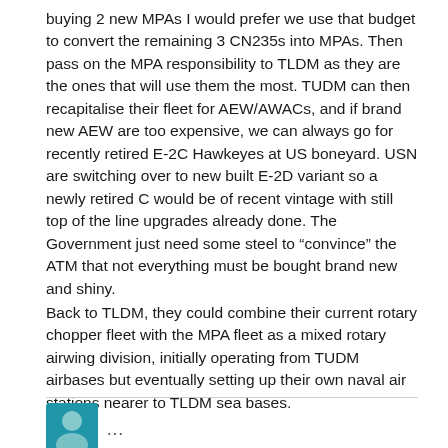buying 2 new MPAs I would prefer we use that budget to convert the remaining 3 CN235s into MPAs. Then pass on the MPA responsibility to TLDM as they are the ones that will use them the most. TUDM can then recapitalise their fleet for AEW/AWACs, and if brand new AEW are too expensive, we can always go for recently retired E-2C Hawkeyes at US boneyard. USN are switching over to new built E-2D variant so a newly retired C would be of recent vintage with still top of the line upgrades already done. The Government just need some steel to “convince” the ATM that not everything must be bought brand new and shiny.
Back to TLDM, they could combine their current rotary chopper fleet with the MPA fleet as a mixed rotary airwing division, initially operating from TUDM airbases but eventually setting up their own naval air stations nearer to TLDM sea bases.
[Figure (photo): Partial avatar/profile image in blue, partially cut off at bottom of page, followed by ellipsis (...)]